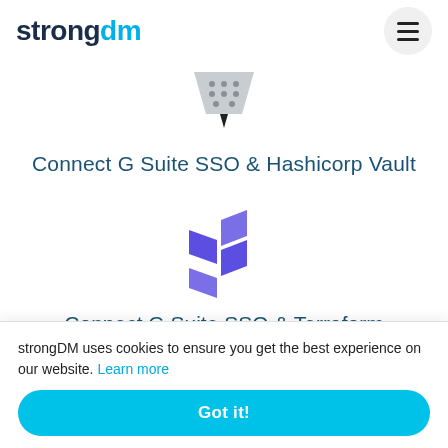[Figure (logo): strongDM logo with 'strong' in dark navy and 'dm' in cyan blue]
[Figure (illustration): Hashicorp Vault logo: grey downward-pointing triangle/funnel shape with dots]
Connect G Suite SSO & Hashicorp Vault
[Figure (logo): Terraform logo: purple geometric T-shape made of diamond/chevron pieces]
Connect G Suite SSO & Terraform
strongDM uses cookies to ensure you get the best experience on our website. Learn more
Got it!
Connect G Suite SSO & AWS CloudFormation